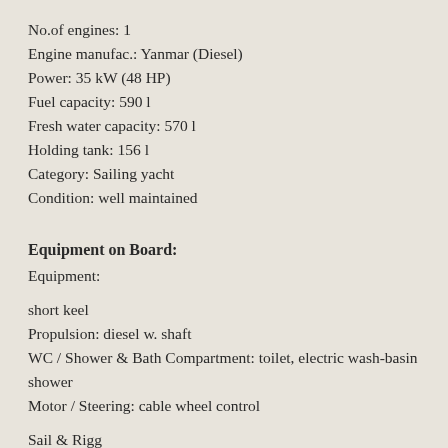No.of engines: 1
Engine manufac.: Yanmar (Diesel)
Power: 35 kW (48 HP)
Fuel capacity: 590 l
Fresh water capacity: 570 l
Holding tank: 156 l
Category: Sailing yacht
Condition: well maintained
Equipment on Board:
Equipment:
short keel
Propulsion: diesel w. shaft
WC / Shower & Bath Compartment: toilet, electric wash-basin shower
Motor / Steering: cable wheel control
Sail & Rigg
Mainsail:45 qm, Jib:26 qm, Genoa:65 qm, Blister:110 qm,